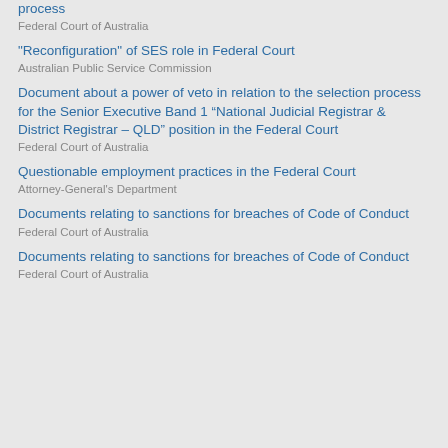process
Federal Court of Australia
"Reconfiguration" of SES role in Federal Court
Australian Public Service Commission
Document about a power of veto in relation to the selection process for the Senior Executive Band 1 “National Judicial Registrar & District Registrar – QLD” position in the Federal Court
Federal Court of Australia
Questionable employment practices in the Federal Court
Attorney-General's Department
Documents relating to sanctions for breaches of Code of Conduct
Federal Court of Australia
Documents relating to sanctions for breaches of Code of Conduct
Federal Court of Australia